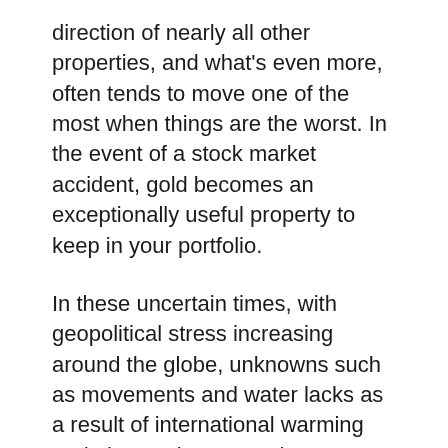direction of nearly all other properties, and what's even more, often tends to move one of the most when things are the worst. In the event of a stock market accident, gold becomes an exceptionally useful property to keep in your portfolio.
In these uncertain times, with geopolitical stress increasing around the globe, unknowns such as movements and water lacks as a result of international warming and also environment change, supply chain uncertainties because of an international pandemic, political instability, and also worries of an overvalued securities market, gold is merely the very best to hedge versus all of these risks.